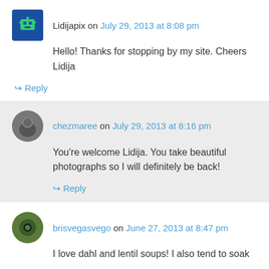Lidijapix on July 29, 2013 at 8:08 pm
Hello! Thanks for stopping by my site. Cheers Lidija
↪ Reply
chezmaree on July 29, 2013 at 8:16 pm
You're welcome Lidija. You take beautiful photographs so I will definitely be back!
↪ Reply
brisvegasvego on June 27, 2013 at 8:47 pm
I love dahl and lentil soups! I also tend to soak